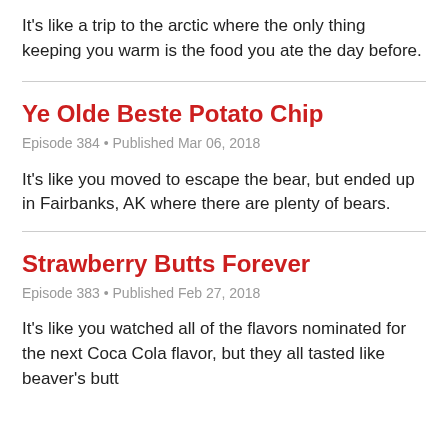It's like a trip to the arctic where the only thing keeping you warm is the food you ate the day before.
Ye Olde Beste Potato Chip
Episode 384 • Published Mar 06, 2018
It's like you moved to escape the bear, but ended up in Fairbanks, AK where there are plenty of bears.
Strawberry Butts Forever
Episode 383 • Published Feb 27, 2018
It's like you watched all of the flavors nominated for the next Coca Cola flavor, but they all tasted like beaver's butt